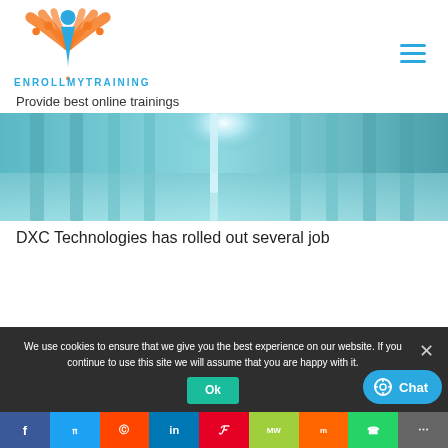[Figure (logo): EnrollMyTraining logo with orange figures and blue person icon, text ENROLLMYTRAINING below]
Provide best online trainings
[Figure (photo): Industrial interior with rows of metal pillars and a glowing light source in the center]
DXC Technologies has rolled out several job
We use cookies to ensure that we give you the best experience on our website. If you continue to use this site we will assume that you are happy with it.
Ok
Chat